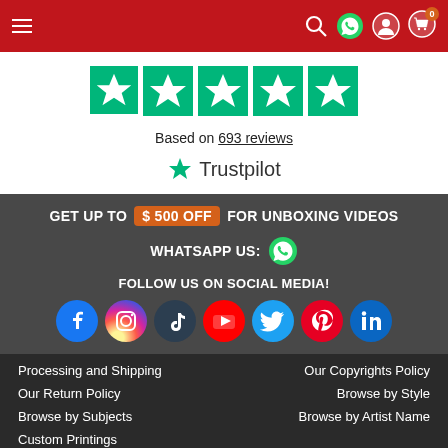Navigation bar with hamburger menu and icons
[Figure (logo): Trustpilot 5-star rating display with 5 green stars]
Based on 693 reviews
[Figure (logo): Trustpilot logo with green star]
GET UP TO $ 500 OFF FOR UNBOXING VIDEOS
WHATSAPP US:
FOLLOW US ON SOCIAL MEDIA!
[Figure (infographic): Row of social media icons: Facebook, Instagram, TikTok, YouTube, Twitter, Pinterest, LinkedIn]
Processing and Shipping
Our Copyrights Policy
Our Return Policy
Browse by Style
Browse by Subjects
Browse by Artist Name
Custom Printings